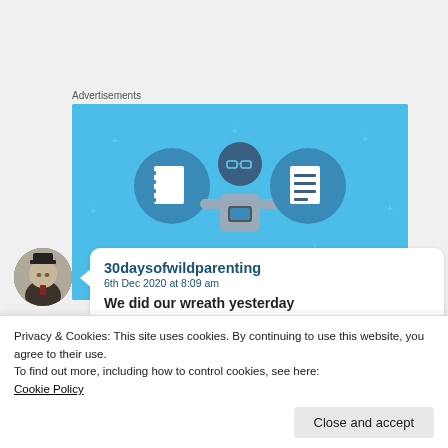Advertisements
[Figure (illustration): Blue advertisement banner showing a stylized illustration of a person holding a phone, flanked by two circular icons with notebook/list imagery, with text 'DAY ONE' at the bottom]
30daysofwildparenting
6th Dec 2020 at 8:09 am
We did our wreath yesterday
Privacy & Cookies: This site uses cookies. By continuing to use this website, you agree to their use.
To find out more, including how to control cookies, see here:
Cookie Policy
Close and accept
★ Liked by 1 person